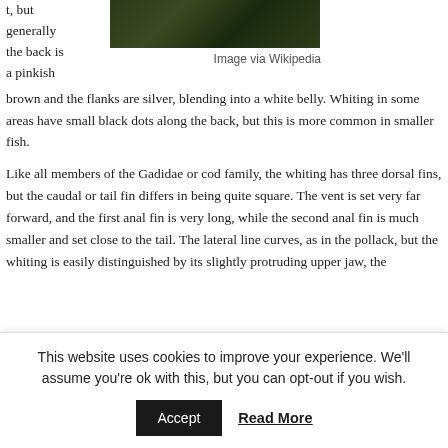t, but generally the back is a pinkish
[Figure (photo): Dark green underwater or nature photo of a fish (whiting), partially visible at top of page]
Image via Wikipedia
brown and the flanks are silver, blending into a white belly. Whiting in some areas have small black dots along the back, but this is more common in smaller fish.
Like all members of the Gadidae or cod family, the whiting has three dorsal fins, but the caudal or tail fin differs in being quite square. The vent is set very far forward, and the first anal fin is very long, while the second anal fin is much smaller and set close to the tail. The lateral line curves, as in the pollack, but the whiting is easily distinguished by its slightly protruding upper jaw, the
This website uses cookies to improve your experience. We'll assume you're ok with this, but you can opt-out if you wish.
Accept
Read More